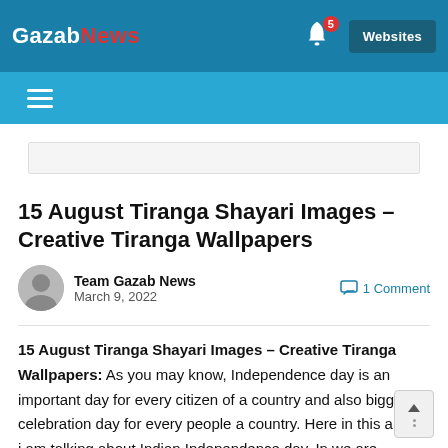GazabNews — Websites — notification bell (5)
15 August Tiranga Shayari Images – Creative Tiranga Wallpapers
Team Gazab News
March 9, 2022
1 Comment
15 August Tiranga Shayari Images – Creative Tiranga Wallpapers: As you may know, Independence day is an important day for every citizen of a country and also biggest celebration day for every people a country. Here in this article i am talking about Indian Independence day. In we are celebrate independence day on 15th of August. And this t